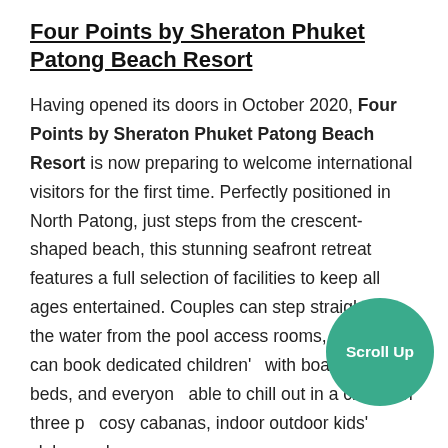Four Points by Sheraton Phuket Patong Beach Resort
Having opened its doors in October 2020, Four Points by Sheraton Phuket Patong Beach Resort is now preparing to welcome international visitors for the first time. Perfectly positioned in North Patong, just steps from the crescent-shaped beach, this stunning seafront retreat features a full selection of facilities to keep all ages entertained. Couples can step straight into the water from the pool access rooms, families can book dedicated children's with boat-shaped beds, and everyone able to chill out in a choice of three po cosy cabanas, indoor outdoor kids' clubs, and